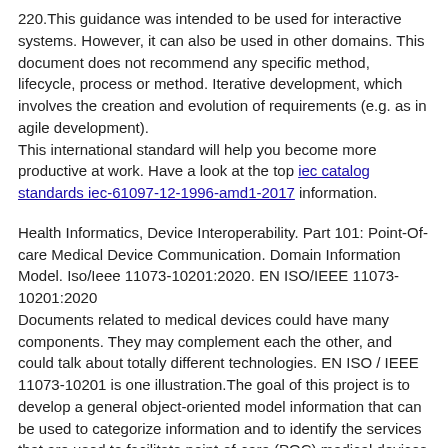220. This guidance was intended to be used for interactive systems. However, it can also be used in other domains. This document does not recommend any specific method, lifecycle, process or method. Iterative development, which involves the creation and evolution of requirements (e.g. as in agile development). This international standard will help you become more productive at work. Have a look at the top iec catalog standards iec-61097-12-1996-amd1-2017 information.
Health Informatics, Device Interoperability. Part 101: Point-Of-care Medical Device Communication. Domain Information Model. Iso/Ieee 11073-10201:2020. EN ISO/IEEE 11073-10201:2020 Documents related to medical devices could have many components. They may complement each the other, and could talk about totally different technologies. EN ISO / IEEE 11073-10201 is one illustration.The goal of this project is to develop a general object-oriented model information that can be used to categorize information and to identify the services that are used to facilitate point-of-care (POC) medical devices communications. The scope of this project is mostly focused on acute care medical equipment as well as the communication patient vital sign information.Information technology is being